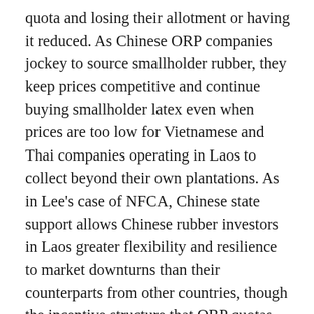quota and losing their allotment or having it reduced. As Chinese ORP companies jockey to source smallholder rubber, they keep prices competitive and continue buying smallholder latex even when prices are too low for Vietnamese and Thai companies operating in Laos to collect beyond their own plantations. As in Lee's case of NFCA, Chinese state support allows Chinese rubber investors in Laos greater flexibility and resilience to market downturns than their counterparts from other countries, though the incentive structure that ORP quotas creates differs from what drives a typical Chinese state-owned enterprise's logic of encompassing accumulation and also drives all ORP investors, state and private.